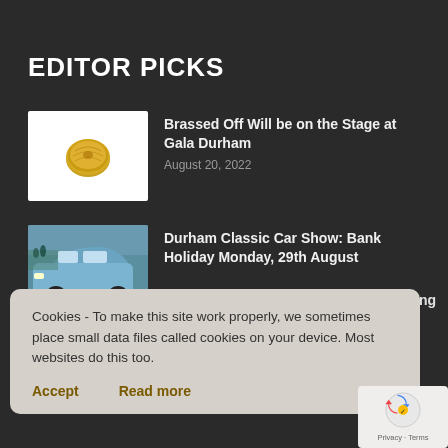EDITOR PICKS
[Figure (photo): White background with a gold brass button object in the center-left]
Brassed Off Will be on the Stage at Gala Durham
August 20, 2022
[Figure (photo): A light blue classic car parked on a street with people in the background]
Durham Classic Car Show: Bank Holiday Monday, 29th August
rs: Preserving
Cookies - To make this site work properly, we sometimes place small data files called cookies on your device. Most websites do this too.
Accept
Read more
[Figure (logo): reCAPTCHA logo with Privacy and Terms links]